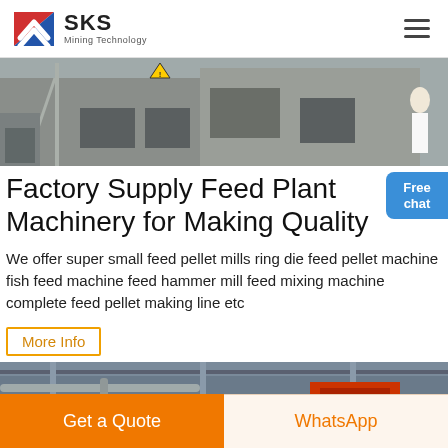SKS Mining Technology
[Figure (photo): Industrial mining/construction facility exterior with concrete buildings, scaffolding, ladders, and a person in white on the right side]
Factory Supply Feed Plant Machinery for Making Quality
We offer super small feed pellet mills ring die feed pellet machine fish feed machine feed hammer mill feed mixing machine complete feed pellet making line etc
More Info
[Figure (photo): Industrial factory interior showing overhead crane and red machinery]
Get a Quote
WhatsApp